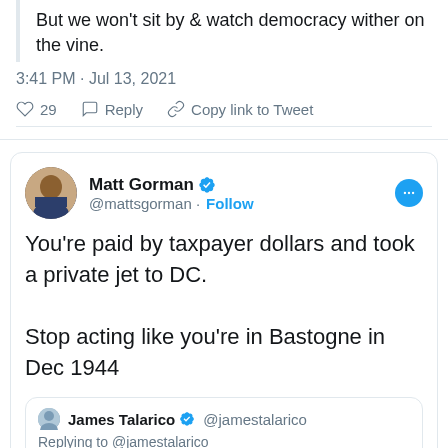But we won't sit by & watch democracy wither on the vine.
3:41 PM · Jul 13, 2021
29   Reply   Copy link to Tweet
Matt Gorman @mattsgorman · Follow
You're paid by taxpayer dollars and took a private jet to DC.

Stop acting like you're in Bastogne in Dec 1944
James Talarico @jamestalarico
Replying to @jamestalarico
Just landed in Memphis on our way to DC. Thank y'all for your well wishes.